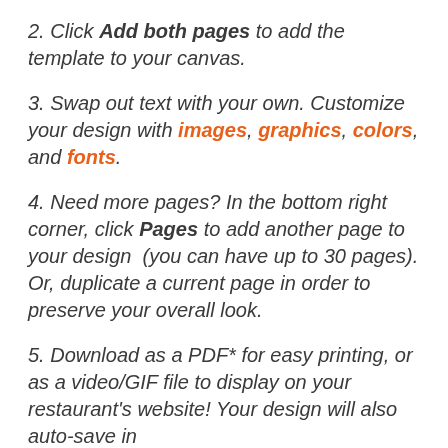2. Click Add both pages to add the template to your canvas.
3. Swap out text with your own. Customize your design with images, graphics, colors, and fonts.
4. Need more pages? In the bottom right corner, click Pages to add another page to your design  (you can have up to 30 pages). Or, duplicate a current page in order to preserve your overall look.
5. Download as a PDF* for easy printing, or as a video/GIF file to display on your restaurant's website! Your design will also auto-save in